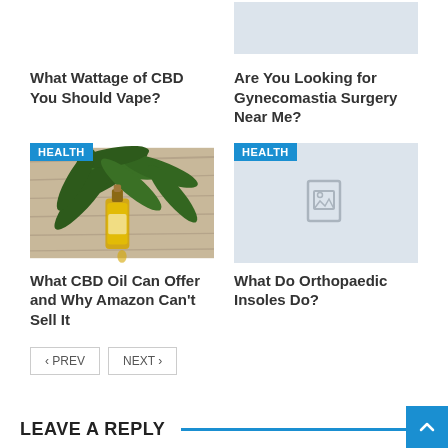[Figure (photo): Placeholder image (light blue/gray) for top-right article]
What Wattage of CBD You Should Vape?
Are You Looking for Gynecomastia Surgery Near Me?
[Figure (photo): Photo of CBD oil bottle with cannabis leaf on wooden background, with HEALTH badge]
[Figure (photo): Placeholder image with image icon, with HEALTH badge]
What CBD Oil Can Offer and Why Amazon Can't Sell It
What Do Orthopaedic Insoles Do?
PREV / NEXT pagination buttons
LEAVE A REPLY